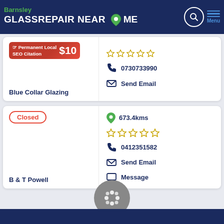Barnsley GLASS REPAIR NEAR ME
[Figure (infographic): SEO Citation banner: Permanent Local SEO Citation $10]
[Figure (infographic): 5 empty star rating]
0730733990
Send Email
Blue Collar Glazing
Closed
673.4kms
[Figure (infographic): 5 empty star rating]
0412351582
Send Email
Message
B & T Powell